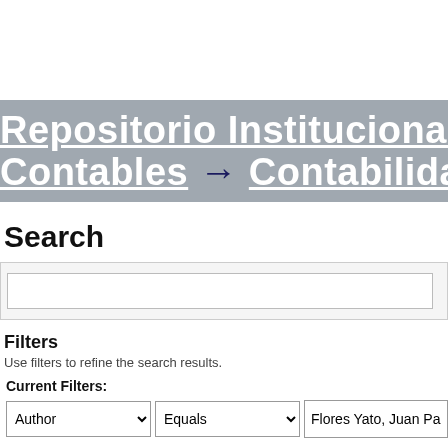Repositorio Institucional Digi...
Contables → Contabilidad →
Search
Filters
Use filters to refine the search results.
Current Filters:
Author | Equals | Flores Yato, Juan Pablo